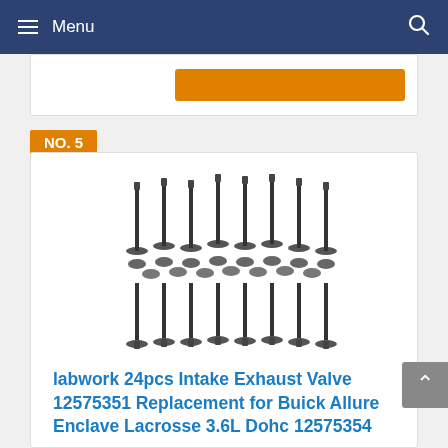Menu
[Figure (photo): Set of 24 engine intake and exhaust valves arranged in two rows showing valve heads and stems]
NO. 5
labwork 24pcs Intake Exhaust Valve 12575351 Replacement for Buick Allure Enclave Lacrosse 3.6L Dohc 12575354
Intake Valves : Head 37mm X Stem 6mm X